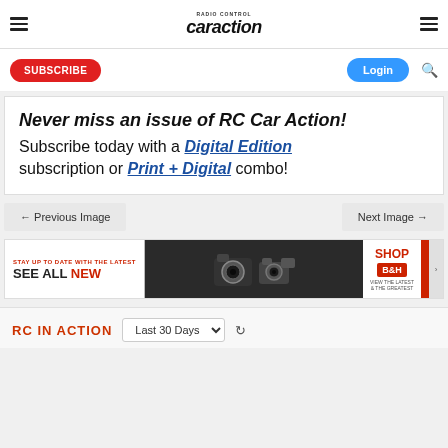RC Car Action
SUBSCRIBE | Login
Never miss an issue of RC Car Action! Subscribe today with a Digital Edition subscription or Print + Digital combo!
← Previous Image   Next Image →
[Figure (photo): B&H advertisement banner: Stay up to date with the latest - SEE ALL NEW, with camera images, SHOP B&H, VIEW THE LATEST & THE GREATEST]
RC IN ACTION  Last 30 Days